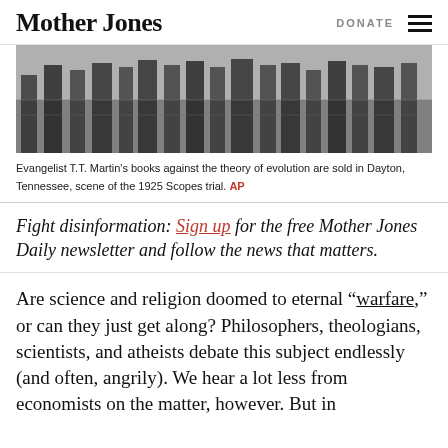Mother Jones | DONATE
[Figure (photo): Black and white photograph showing a row of people standing, likely at an outdoor gathering. Only their lower bodies are visible. Related to Evangelist T.T. Martin's book sales at the 1925 Scopes trial location.]
Evangelist T.T. Martin's books against the theory of evolution are sold in Dayton, Tennessee, scene of the 1925 Scopes trial. AP
Fight disinformation: Sign up for the free Mother Jones Daily newsletter and follow the news that matters.
Are science and religion doomed to eternal “warfare,” or can they just get along? Philosophers, theologians, scientists, and atheists debate this subject endlessly (and often, angrily). We hear a lot less from economists on the matter, however. But in